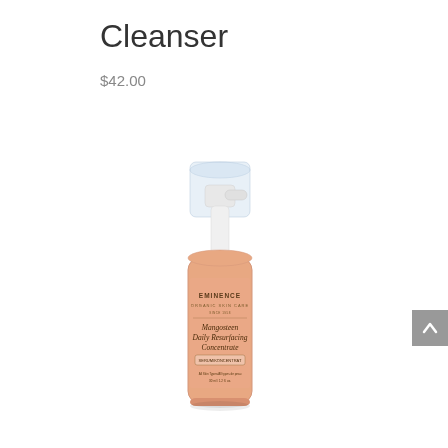Cleanser
$42.00
[Figure (photo): Eminence Organic Skin Care pump bottle product - Mangosteen Daily Resurfacing Concentrate, peach/salmon colored bottle with white pump dispenser and clear cap]
[Figure (other): Gray scroll-to-top button with upward chevron arrow]